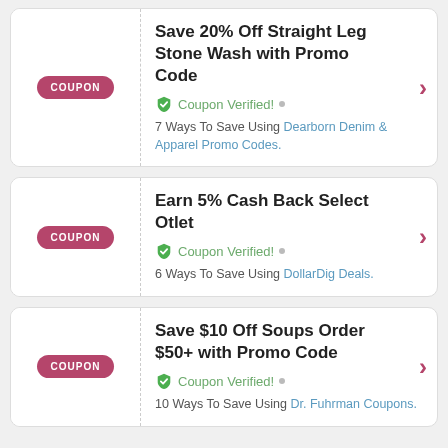Save 20% Off Straight Leg Stone Wash with Promo Code
Coupon Verified!
7 Ways To Save Using Dearborn Denim & Apparel Promo Codes.
Earn 5% Cash Back Select Otlet
Coupon Verified!
6 Ways To Save Using DollarDig Deals.
Save $10 Off Soups Order $50+ with Promo Code
Coupon Verified!
10 Ways To Save Using Dr. Fuhrman Coupons.